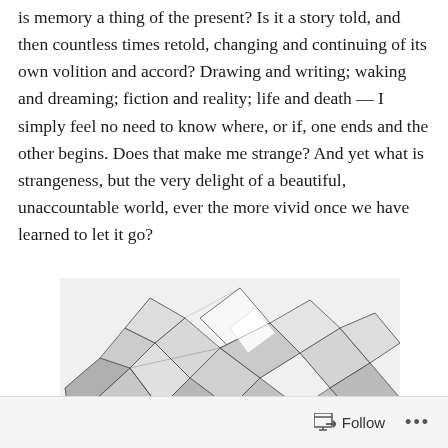is memory a thing of the present? Is it a story told, and then countless times retold, changing and continuing of its own volition and accord? Drawing and writing; waking and dreaming; fiction and reality; life and death — I simply feel no need to know where, or if, one ends and the other begins. Does that make me strange? And yet what is strangeness, but the very delight of a beautiful, unaccountable world, ever the more vivid once we have learned to let it go?
[Figure (illustration): A pencil sketch or digital illustration of an abstract geometric, faceted crystalline or crumpled form rendered in black and white/grayscale, with angular polygon shapes forming what appears to be a sculptural object.]
Follow •••